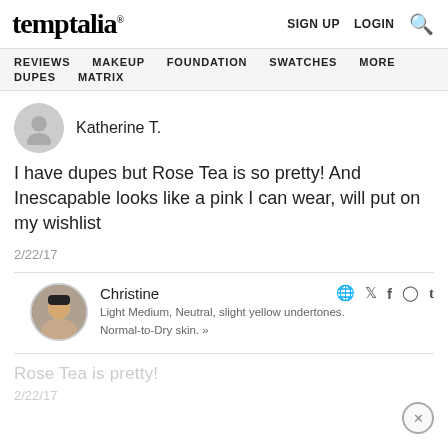temptalia® | SIGN UP  LOGIN  [search]
REVIEWS  MAKEUP  FOUNDATION  SWATCHES  MORE  DUPES  MATRIX
Katherine T.
I have dupes but Rose Tea is so pretty! And Inescapable looks like a pink I can wear, will put on my wishlist
2/22/17
Christine
Light Medium, Neutral, slight yellow undertones. Normal-to-Dry skin. »
Rose Tea is pretty!
2/22/17